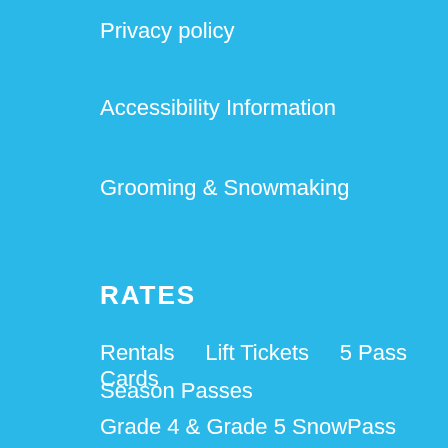Privacy policy
Accessibility Information
Grooming & Snowmaking
RATES
Rentals    Lift Tickets    5 Pass Cards
Season Passes
Grade 4 & Grade 5 SnowPass
Group and Corporate Pricing    Promotions
Bi-Ski    Buy Online